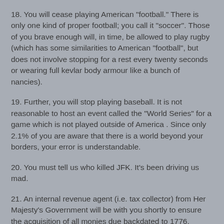18. You will cease playing American "football." There is only one kind of proper football; you call it "soccer". Those of you brave enough will, in time, be allowed to play rugby (which has some similarities to American "football", but does not involve stopping for a rest every twenty seconds or wearing full kevlar body armour like a bunch of nancies).
19. Further, you will stop playing baseball. It is not reasonable to host an event called the "World Series" for a game which is not played outside of America . Since only 2.1% of you are aware that there is a world beyond your borders, your error is understandable.
20. You must tell us who killed JFK. It's been driving us mad.
21. An internal revenue agent (i.e. tax collector) from Her Majesty's Government will be with you shortly to ensure the acquisition of all monies due backdated to 1776.
Thank you for your co-operation.